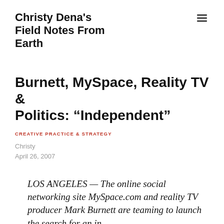Christy Dena's Field Notes From Earth
Burnett, MySpace, Reality TV & Politics: “Independent”
CREATIVE PRACTICE & STRATEGY
Christy
April 26, 2007
LOS ANGELES — The online social networking site MySpace.com and reality TV producer Mark Burnett are teaming to launch the search for an independent presidential...